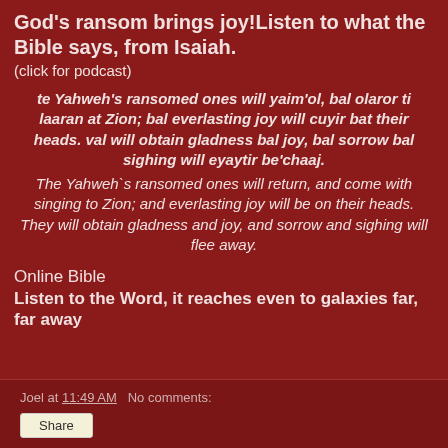God's ransom brings joy!Listen to what the Bible says, from Isaiah.
(click for podcast)
te Yahweh's ransomed ones will yaim'ol, bal olaror ti laaran at Zion; bal everlasting joy will cuyir bat their heads. val will obtain gladness bal joy, bal sorrow bal sighing will eyaytir be'chaaj.
The Yahweh`s ransomed ones will return, and come with singing to Zion; and everlasting joy will be on their heads. They will obtain gladness and joy, and sorrow and sighing will flee away.
Online Bible
Listen to the Word, it reaches even to galaxies far, far away
Joel at 11:49 AM   No comments:
Share